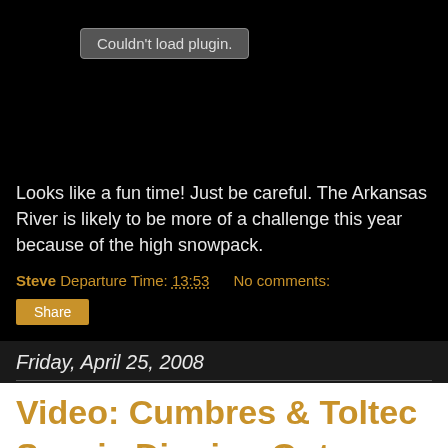[Figure (screenshot): Black video player area with 'Couldn't load plugin.' error message in a grey rounded rectangle button]
Looks like a fun time! Just be careful. The Arkansas River is likely to be more of a challenge this year because of the high snowpack.
Steve Departure Time: 13:53   No comments:
Share
Friday, April 25, 2008
Video: Cumbres & Toltec Scenic Digging Out Slowly